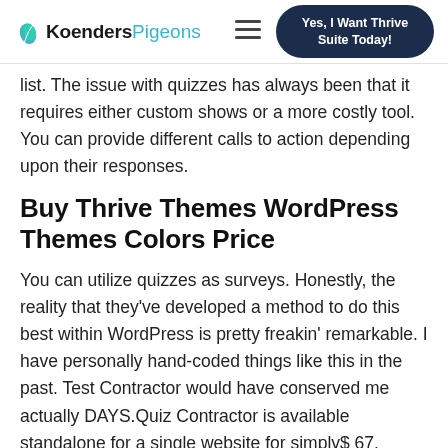KoendersPigeons [hamburger menu] Yes, I Want Thrive Suite Today!
list. The issue with quizzes has always been that it requires either custom shows or a more costly tool. You can provide different calls to action depending upon their responses.
Buy Thrive Themes WordPress Themes Colors Price
You can utilize quizzes as surveys. Honestly, the reality that they've developed a method to do this best within WordPress is pretty freakin' remarkable. I have personally hand-coded things like this in the past. Test Contractor would have conserved me actually DAYS.Quiz Contractor is available standalone for a single website for simply$ 67.